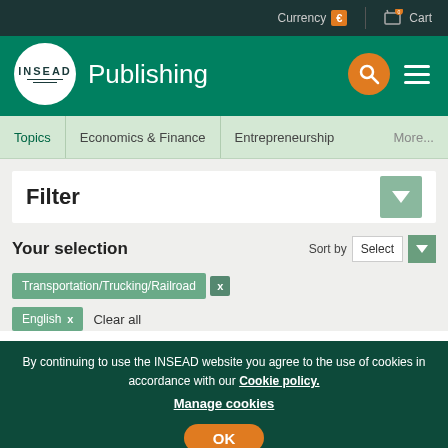Currency € | 0 Cart
INSEAD Publishing
Topics | Economics & Finance | Entrepreneurship | More...
Filter
Your selection
Sort by Select
Transportation/Trucking/Railroad x
English x  Clear all
By continuing to use the INSEAD website you agree to the use of cookies in accordance with our Cookie policy. Manage cookies
OK